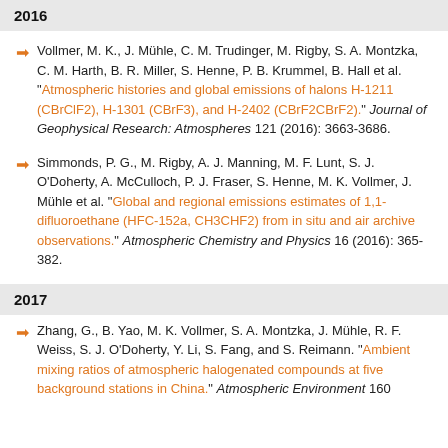2016
Vollmer, M. K., J. Mühle, C. M. Trudinger, M. Rigby, S. A. Montzka, C. M. Harth, B. R. Miller, S. Henne, P. B. Krummel, B. Hall et al. "Atmospheric histories and global emissions of halons H-1211 (CBrClF2), H-1301 (CBrF3), and H-2402 (CBrF2CBrF2)." Journal of Geophysical Research: Atmospheres 121 (2016): 3663-3686.
Simmonds, P. G., M. Rigby, A. J. Manning, M. F. Lunt, S. J. O'Doherty, A. McCulloch, P. J. Fraser, S. Henne, M. K. Vollmer, J. Mühle et al. "Global and regional emissions estimates of 1,1-difluoroethane (HFC-152a, CH3CHF2) from in situ and air archive observations." Atmospheric Chemistry and Physics 16 (2016): 365-382.
2017
Zhang, G., B. Yao, M. K. Vollmer, S. A. Montzka, J. Mühle, R. F. Weiss, S. J. O'Doherty, Y. Li, S. Fang, and S. Reimann. "Ambient mixing ratios of atmospheric halogenated compounds at five background stations in China." Atmospheric Environment 160...